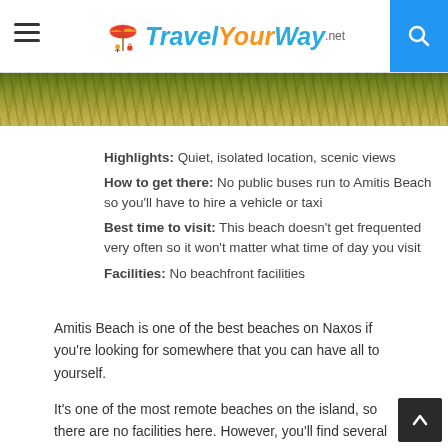Travel Your Way .net
[Figure (photo): Top portion of a nature/beach landscape showing scrubby vegetation and dry plants in warm tones]
Highlights: Quiet, isolated location, scenic views
How to get there: No public buses run to Amitis Beach so you'll have to hire a vehicle or taxi
Best time to visit: This beach doesn't get frequented very often so it won't matter what time of day you visit
Facilities: No beachfront facilities
Amitis Beach is one of the best beaches on Naxos if you're looking for somewhere that you can have all to yourself.
It's one of the most remote beaches on the island, so there are no facilities here. However, you'll find several tavernas in the nearby villages of Eggares and Galini.